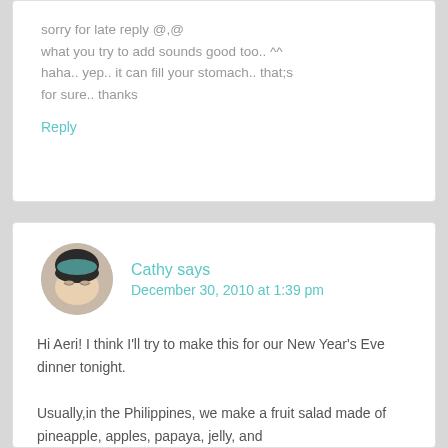sorry for late reply @,@
what you try to add sounds good too.. ^^
haha.. yep.. it can fill your stomach.. that;s for sure.. thanks
Reply
Cathy says
December 30, 2010 at 1:39 pm
Hi Aeri! I think I'll try to make this for our New Year's Eve dinner tonight.
Usually,in the Philippines, we make a fruit salad made of pineapple, apples, papaya, jelly, and